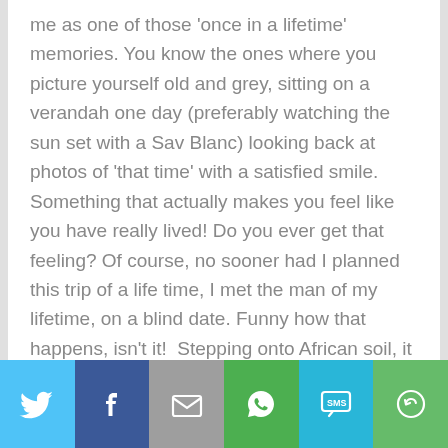me as one of those 'once in a lifetime' memories. You know the ones where you picture yourself old and grey, sitting on a verandah one day (preferably watching the sun set with a Sav Blanc) looking back at photos of 'that time' with a satisfied smile. Something that actually makes you feel like you have really lived! Do you ever get that feeling? Of course, no sooner had I planned this trip of a life time, I met the man of my lifetime, on a blind date. Funny how that happens, isn't it!  Stepping onto African soil, it was the first time I'd been to a developing country and as you'd expect, my mind boggled....I was completely in
[Figure (other): Social share bar with six buttons: Twitter (light blue), Facebook (dark blue), Email (gray), WhatsApp (green), SMS (teal/blue), More (green)]